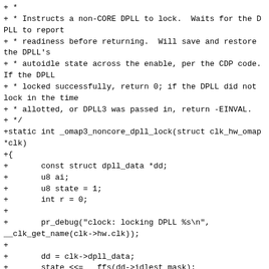+ *
+ * Instructs a non-CORE DPLL to lock.  Waits for the DPLL to report
+ * readiness before returning.  Will save and restore the DPLL's
+ * autoidle state across the enable, per the CDP code.  If the DPLL
+ * locked successfully, return 0; if the DPLL did not lock in the time
+ * allotted, or DPLL3 was passed in, return -EINVAL.
+ */
+static int _omap3_noncore_dpll_lock(struct clk_hw_omap *clk)
+{
+       const struct dpll_data *dd;
+       u8 ai;
+       u8 state = 1;
+       int r = 0;
+
+       pr_debug("clock: locking DPLL %s\n",
__clk_get_name(clk->hw.clk));
+
+       dd = clk->dpll_data;
+       state <<= __ffs(dd->idlest_mask);
+
+       /* Check if already locked */
+       if ((ti_clk_ll_ops->clk_readl(dd->idlest_reg) &
dd->idlest_mask) ==
+               state)
+               goto done;